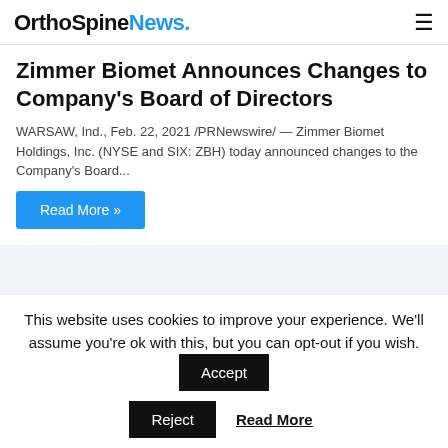OrthoSpineNews.
Zimmer Biomet Announces Changes to Company's Board of Directors
WARSAW, Ind., Feb. 22, 2021 /PRNewswire/ — Zimmer Biomet Holdings, Inc. (NYSE and SIX: ZBH) today announced changes to the Company's Board...
Read More »
[Figure (logo): Large italic dark blue alpha (α) symbol on light grey-blue background]
This website uses cookies to improve your experience. We'll assume you're ok with this, but you can opt-out if you wish.
Accept
Reject
Read More